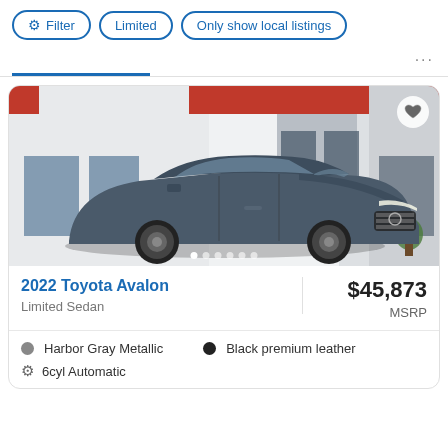Filter | Limited | Only show local listings
[Figure (photo): 2022 Toyota Avalon Limited Sedan in Harbor Gray Metallic parked in front of a Toyota dealership building with red and white facade]
2022 Toyota Avalon
Limited Sedan
$45,873
MSRP
Harbor Gray Metallic
Black premium leather
6cyl Automatic